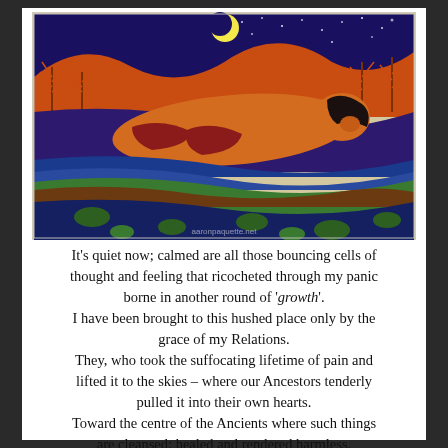[Figure (illustration): A colorful Indigenous-style painting of a figure lying on their side in a nighttime landscape with blue and purple tones, green lily pads, orange trees, a yellow moon, and a starry sky. Watermark reads 'aaronpaquette.net'.]
It's quiet now; calmed are all those bouncing cells of thought and feeling that ricocheted through my panic borne in another round of 'growth'. I have been brought to this hushed place only by the grace of my Relations. They, who took the suffocating lifetime of pain and lifted it to the skies – where our Ancestors tenderly pulled it into their own hearts. Toward the centre of the Ancients where such things are cleansed; healed and rendered harmless. To the place where all things are made sound again and hold love in their tender hearts.